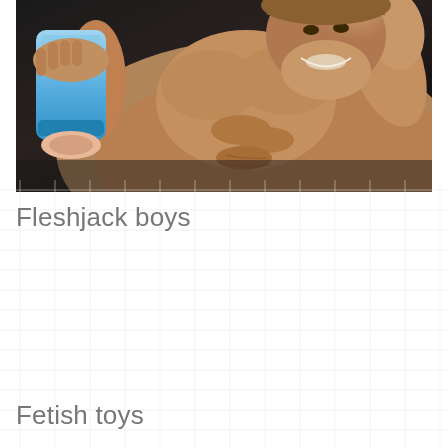[Figure (photo): Muscular shirtless man holding a blue Fleshlight product, reclining, smiling, dark background]
Fleshjack boys
Fetish toys